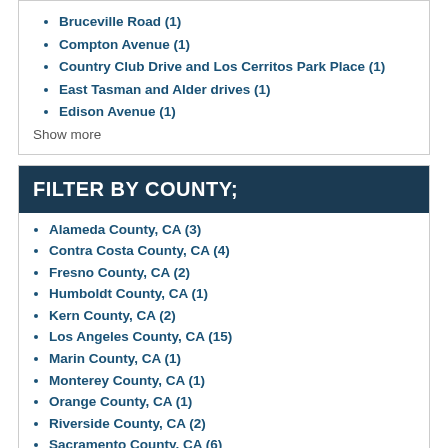Bruceville Road (1)
Compton Avenue (1)
Country Club Drive and Los Cerritos Park Place (1)
East Tasman and Alder drives (1)
Edison Avenue (1)
Show more
FILTER BY COUNTY;
Alameda County, CA (3)
Contra Costa County, CA (4)
Fresno County, CA (2)
Humboldt County, CA (1)
Kern County, CA (2)
Los Angeles County, CA (15)
Marin County, CA (1)
Monterey County, CA (1)
Orange County, CA (1)
Riverside County, CA (2)
Sacramento County, CA (6)